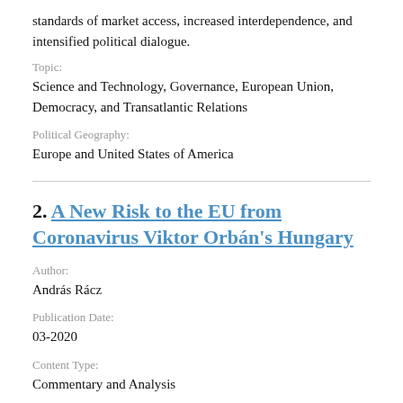standards of market access, increased interdependence, and intensified political dialogue.
Topic:
Science and Technology, Governance, European Union, Democracy, and Transatlantic Relations
Political Geography:
Europe and United States of America
2. A New Risk to the EU from Coronavirus Viktor Orbán's Hungary
Author:
András Rácz
Publication Date:
03-2020
Content Type:
Commentary and Analysis